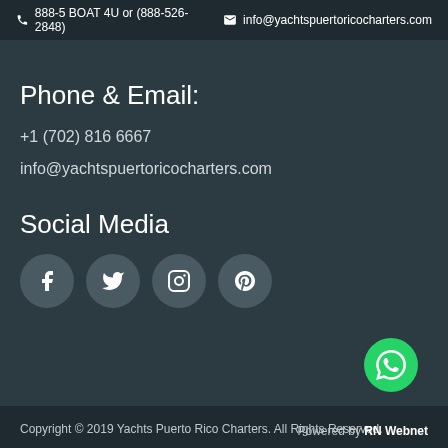888-5 BOAT 4U or (888-526-2848)  info@yachtspuertoricocharters.com
Phone & Email:
+1 (702) 816 6667
info@yachtspuertoricocharters.com
Social Media
[Figure (illustration): Four circular social media icon buttons: Facebook, Twitter, Instagram, Pinterest]
Copyright © 2019 Yachts Puerto Rico Charters. All Rights Reserved.
Powered by RN Webnet